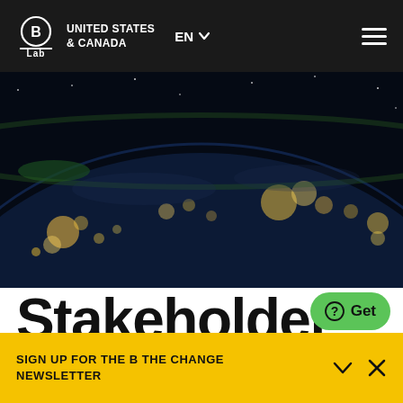B Lab — UNITED STATES & CANADA | EN | Menu
[Figure (photo): Aerial night view of Earth from space showing city lights across continents, with a curved horizon and dark sky above.]
Stakeholder
[Figure (other): Green rounded button with a question mark circle icon and the text 'Get']
SIGN UP FOR THE B THE CHANGE NEWSLETTER